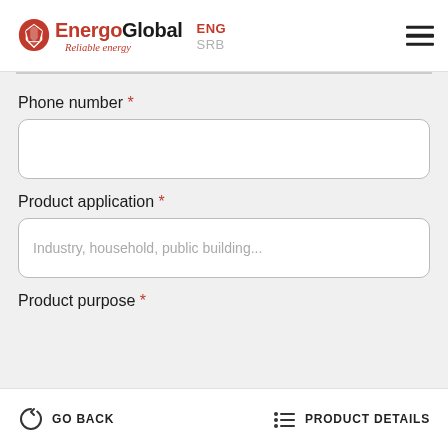[Figure (logo): EnergoGlobal logo with red shield icon, bold text 'EnergoGlobal', italic red tagline 'Reliable energy', language toggles ENG and SRB, and hamburger menu icon]
Phone number *
Product application *
Industry, household, public building...
Product purpose *
GO BACK
PRODUCT DETAILS